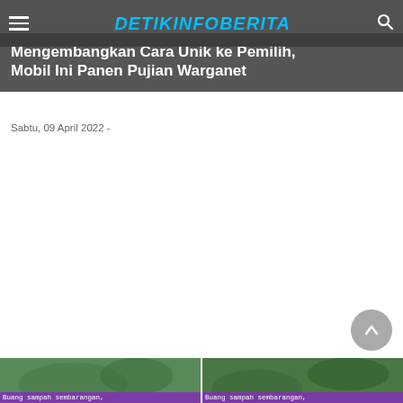DETIKINFOBERITA
Mengembangkan Cara Unik ke Pemilih, Mobil Ini Panen Pujian Warganet
Sabtu, 09 April 2022  -
[Figure (screenshot): White blank content area of news article page]
[Figure (screenshot): Two thumbnail images at bottom with purple label 'Buang sampah sembarangan,' on green/nature background photos]